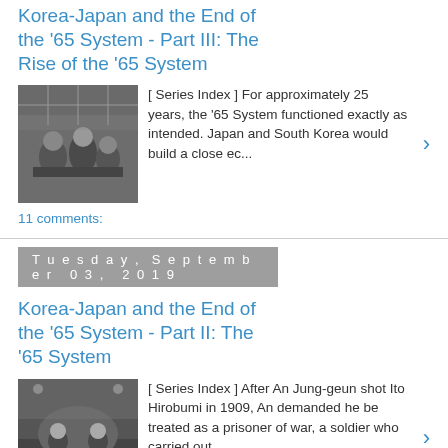Korea-Japan and the End of the '65 System - Part III: The Rise of the '65 System
[ Series Index ] For approximately 25 years, the '65 System functioned exactly as intended. Japan and South Korea would build a close ec...
11 comments:
Tuesday, September 03, 2019
Korea-Japan and the End of the '65 System - Part II: The '65 System
[ Series Index ] After An Jung-geun shot Ito Hirobumi in 1909, An demanded he be treated as a prisoner of war, a soldier who carried out ...
14 comments:
Thursday, August 29, 2019